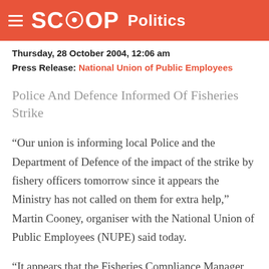SCOOP Politics
Thursday, 28 October 2004, 12:06 am
Press Release: National Union of Public Employees
Police And Defence Informed Of Fisheries Strike
“Our union is informing local Police and the Department of Defence of the impact of the strike by fishery officers tomorrow since it appears the Ministry has not called on them for extra help,” Martin Cooney, organiser with the National Union of Public Employees (NUPE) said today.
“It appears that the Fisheries Compliance Manager